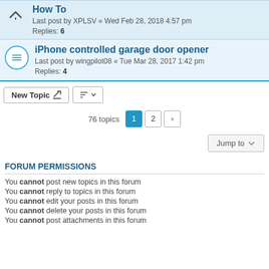How To — Last post by XPLSV « Wed Feb 28, 2018 4:57 pm — Replies: 6
iPhone controlled garage door opener — Last post by wingpilot08 « Tue Mar 28, 2017 1:42 pm — Replies: 4
New Topic | sort | 76 topics | page 1 | 2 | > | Jump to
FORUM PERMISSIONS
You cannot post new topics in this forum
You cannot reply to topics in this forum
You cannot edit your posts in this forum
You cannot delete your posts in this forum
You cannot post attachments in this forum